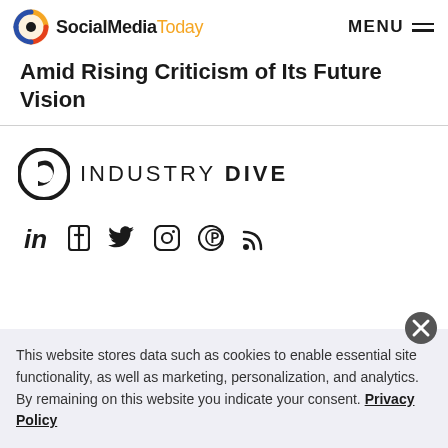SocialMediaToday — MENU
Amid Rising Criticism of Its Future Vision
[Figure (logo): Industry Dive logo with circular D icon and text 'INDUSTRY DIVE']
[Figure (infographic): Social media icons: LinkedIn, Facebook, Twitter, Instagram, Pinterest, RSS]
This website stores data such as cookies to enable essential site functionality, as well as marketing, personalization, and analytics. By remaining on this website you indicate your consent. Privacy Policy